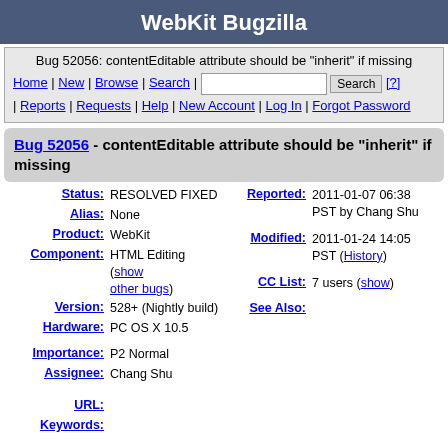WebKit Bugzilla
Bug 52056: contentEditable attribute should be "inherit" if missing
Home | New | Browse | Search | [search box] Search [?] | Reports | Requests | Help | New Account | Log In | Forgot Password
Bug 52056 - contentEditable attribute should be "inherit" if missing
| Field | Value |
| --- | --- |
| Status: | RESOLVED FIXED |
| Alias: | None |
| Product: | WebKit |
| Component: | HTML Editing (show other bugs) |
| Version: | 528+ (Nightly build) |
| Hardware: | PC OS X 10.5 |
| Reported: | 2011-01-07 06:38 PST by Chang Shu |
| Modified: | 2011-01-24 14:05 PST (History) |
| CC List: | 7 users (show) |
| See Also: |  |
| Importance: | P2 Normal |
| Assignee: | Chang Shu |
| URL: |  |
| Keywords: |  |